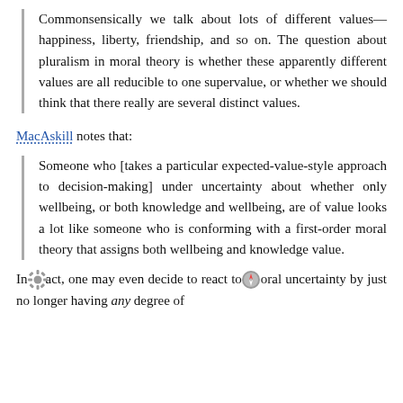Commonsensically we talk about lots of different values—happiness, liberty, friendship, and so on. The question about pluralism in moral theory is whether these apparently different values are all reducible to one supervalue, or whether we should think that there really are several distinct values.
MacAskill notes that:
Someone who [takes a particular expected-value-style approach to decision-making] under uncertainty about whether only wellbeing, or both knowledge and wellbeing, are of value looks a lot like someone who is conforming with a first-order moral theory that assigns both wellbeing and knowledge value.
In fact, one may even decide to react to moral uncertainty by just no longer having any degree of